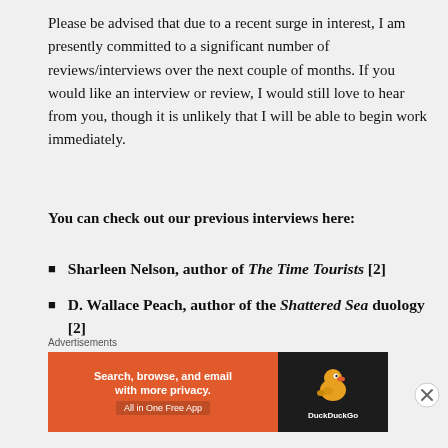Please be advised that due to a recent surge in interest, I am presently committed to a significant number of reviews/interviews over the next couple of months. If you would like an interview or review, I would still love to hear from you, though it is unlikely that I will be able to begin work immediately.
You can check out our previous interviews here:
Sharleen Nelson, author of The Time Tourists [2]
D. Wallace Peach, author of the Shattered Sea duology [2]
Jacob Klon, author of Crooked Souls
Advertisements
[Figure (other): DuckDuckGo advertisement banner: 'Search, browse, and email with more privacy. All in One Free App' with DuckDuckGo duck logo on dark background]